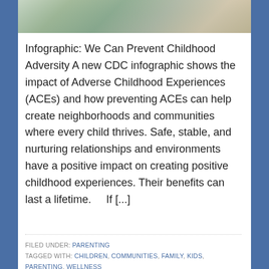[Figure (photo): Cropped photo of children/people, partially visible at the top of the card]
Infographic: We Can Prevent Childhood Adversity A new CDC infographic shows the impact of Adverse Childhood Experiences (ACEs) and how preventing ACEs can help create neighborhoods and communities where every child thrives. Safe, stable, and nurturing relationships and environments have a positive impact on creating positive childhood experiences. Their benefits can last a lifetime.    If [...]
FILED UNDER: PARENTING
TAGGED WITH: CHILDREN, COMMUNITIES, FAMILY, KIDS, PARENTING, WELLNESS